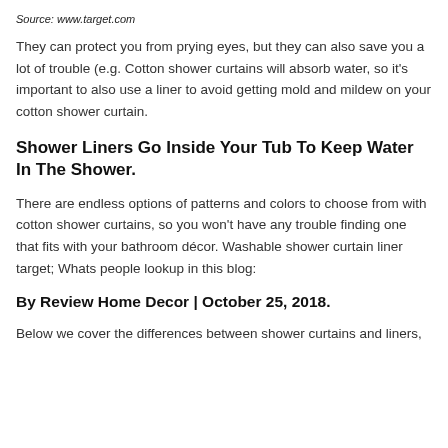Source: www.target.com
They can protect you from prying eyes, but they can also save you a lot of trouble (e.g. Cotton shower curtains will absorb water, so it's important to also use a liner to avoid getting mold and mildew on your cotton shower curtain.
Shower Liners Go Inside Your Tub To Keep Water In The Shower.
There are endless options of patterns and colors to choose from with cotton shower curtains, so you won't have any trouble finding one that fits with your bathroom décor. Washable shower curtain liner target; Whats people lookup in this blog:
By Review Home Decor | October 25, 2018.
Below we cover the differences between shower curtains and liners,